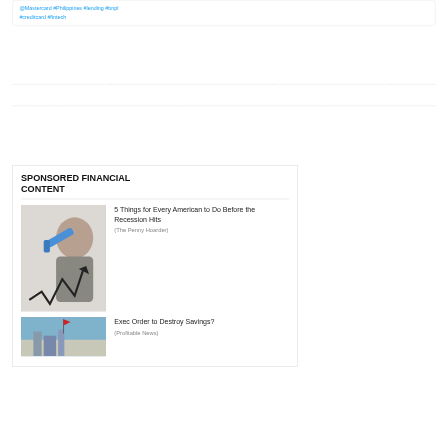@Mastercard #Philippines #lending #bnpl #creditcard #fintech
SPONSORED FINANCIAL CONTENT
[Figure (photo): Person holding a gas pump nozzle to their head with a downward trending arrow chart graphic, illustrating financial stress]
5 Things for Every American to Do Before the Recession Hits
(The Penny Hoarder)
[Figure (photo): Aerial or landscape photo showing a building or city scene with a flag]
Exec Order to Destroy Savings?
(Profitable News)